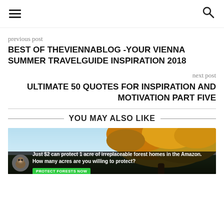☰ [menu icon] | 🔍 [search icon]
previous post
BEST OF THEVIENNABLOG -YOUR VIENNA SUMMER TRAVELGUIDE INSPIRATION 2018
next post
ULTIMATE 50 QUOTES FOR INSPIRATION AND MOTIVATION PART FIVE
YOU MAY ALSO LIKE
[Figure (photo): Outdoor nature photo showing trees with autumn yellow/orange leaves against a blue sky, with a dark forest floor below. An advertisement overlay at the bottom reads: Just $2 can protect 1 acre of irreplaceable forest homes in the Amazon. How many acres are you willing to protect? [PROTECT FORESTS NOW button]]